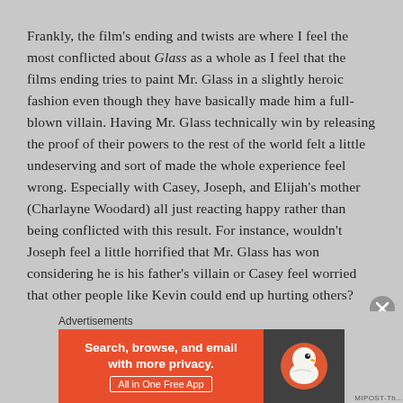Frankly, the film's ending and twists are where I feel the most conflicted about Glass as a whole as I feel that the films ending tries to paint Mr. Glass in a slightly heroic fashion even though they have basically made him a full-blown villain. Having Mr. Glass technically win by releasing the proof of their powers to the rest of the world felt a little undeserving and sort of made the whole experience feel wrong. Especially with Casey, Joseph, and Elijah's mother (Charlayne Woodard) all just reacting happy rather than being conflicted with this result. For instance, wouldn't Joseph feel a little horrified that Mr. Glass has won considering he is his father's villain or Casey feel worried that other people like Kevin could end up hurting others?

Not to mention, the film paints him as crazy once it's revealed that Elijah had actually caused the death of Kevin's
Advertisements
[Figure (other): DuckDuckGo advertisement banner: orange left panel with text 'Search, browse, and email with more privacy. All in One Free App' and dark right panel with DuckDuckGo duck logo]